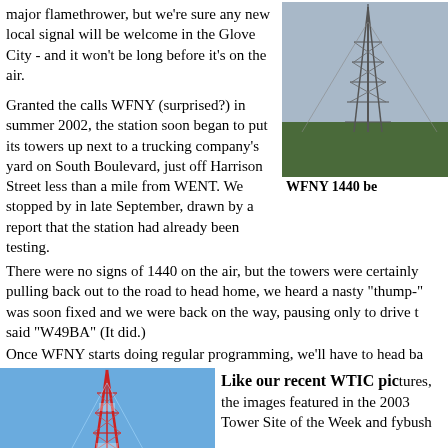major flamethrower, but we're sure any new local signal will be welcome in the Glove City - and it won't be long before it's on the air.
[Figure (photo): Tall radio tower against sky with trees below, partially cropped on right side]
WFNY 1440 be
Granted the calls WFNY (surprised?) in summer 2002, the station soon began to put its towers up next to a trucking company's yard on South Boulevard, just off Harrison Street less than a mile from WENT. We stopped by in late September, drawn by a report that the station had already been testing.
There were no signs of 1440 on the air, but the towers were certainly pulling back out to the road to head home, we heard a nasty "thump-" was soon fixed and we were back on the way, pausing only to drive t said "W49BA" (It did.)
Once WFNY starts doing regular programming, we'll have to head ba
[Figure (photo): Tower Site Calendar 2003 promotional image showing a tall red and white lattice radio tower against a blue sky]
Like our recent WTIC pictures, the images featured in the 2003 Tower Site of the Week and fybush...
If you liked last year's edition, in addition to Avon Mountain, Mount Mansfield, Vermont; legendary WSM, Nashville...